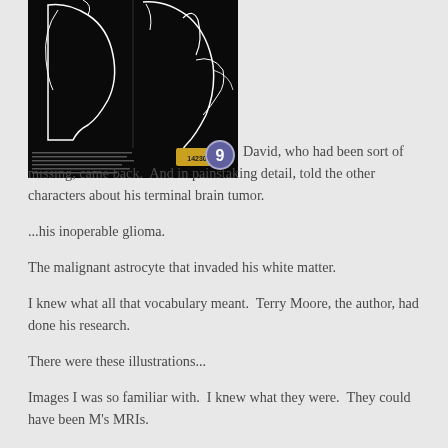[Figure (illustration): Black and white comic book cover or page showing two profile silhouettes of heads (facing right) drawn with white lines on black background, with a circular badge showing the number 9 and a yellow/orange label at the bottom]
David, who had been sort of missing, came back.  And in painstaking detail, told the other characters about his terminal brain tumor.
...his inoperable glioma.
The malignant astrocyte that invaded his white matter.
I knew what all that vocabulary meant.  Terry Moore, the author, had done his research.
There were these illustrations...
Images I was so familiar with.  I knew what they were.  They could have been M's MRIs.